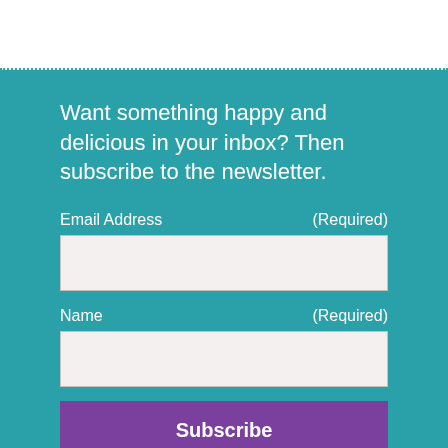Want something happy and delicious in your inbox? Then subscribe to the newsletter.
Email Address (Required)
Name (Required)
Subscribe